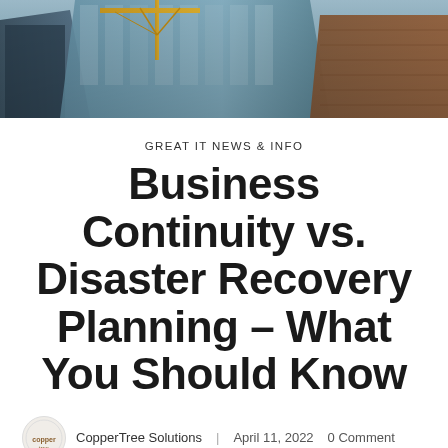[Figure (photo): Upward view of city skyscrapers with glass facades and construction crane against sky]
GREAT IT NEWS & INFO
Business Continuity vs. Disaster Recovery Planning – What You Should Know
CopperTree Solutions    April 11, 2022    0 Comment